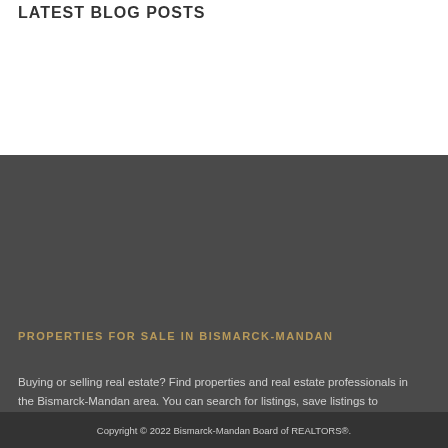LATEST BLOG POSTS
PROPERTIES FOR SALE IN BISMARCK-MANDAN
Buying or selling real estate? Find properties and real estate professionals in the Bismarck-Mandan area. You can search for listings, save listings to collections, share listings with others, connect with real estate professionals, and get property data and information. Sign up for free.
Copyright © 2022 Bismarck-Mandan Board of REALTORS®.